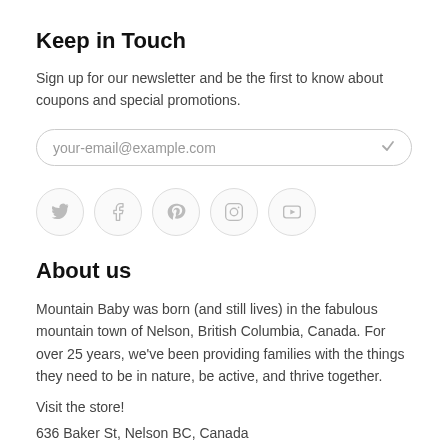Keep in Touch
Sign up for our newsletter and be the first to know about coupons and special promotions.
[Figure (other): Email input field with placeholder text 'your-email@example.com' and a checkmark icon on the right, styled with rounded border]
[Figure (other): Row of five social media icon circles: Twitter, Facebook, Pinterest, Instagram, YouTube]
About us
Mountain Baby was born (and still lives) in the fabulous mountain town of Nelson, British Columbia, Canada. For over 25 years, we've been providing families with the things they need to be in nature, be active, and thrive together.
Visit the store!
636 Baker St, Nelson BC, Canada